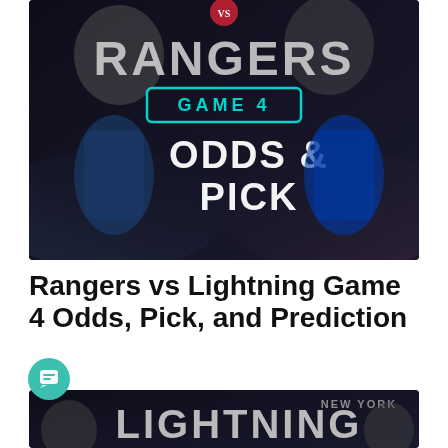[Figure (photo): Sports graphic showing Rangers vs Lightning Game 4 with text 'RANGERS', 'GAME 4', 'ODDS & PICK' on dark background with hockey players]
Rangers vs Lightning Game 4 Odds, Pick, and Prediction
[Figure (photo): Partial sports graphic showing Lightning text with hockey players on dark background with 'NEW YORK' visible]